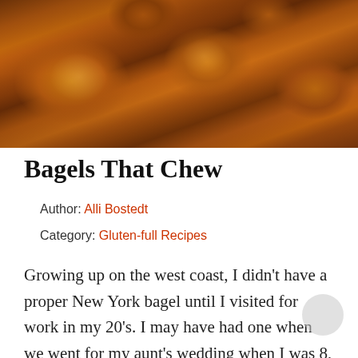[Figure (photo): Close-up photo of golden-brown baked bagels on a surface, showing their glossy crusts with warm amber and brown tones.]
Bagels That Chew
Author: Alli Bostedt
Category: Gluten-full Recipes
Growing up on the west coast, I didn't have a proper New York bagel until I visited for work in my 20's. I may have had one when we went for my aunt's wedding when I was 8, but my only strong memories of that visit are 1- The rats in our hotel room and...
More Details